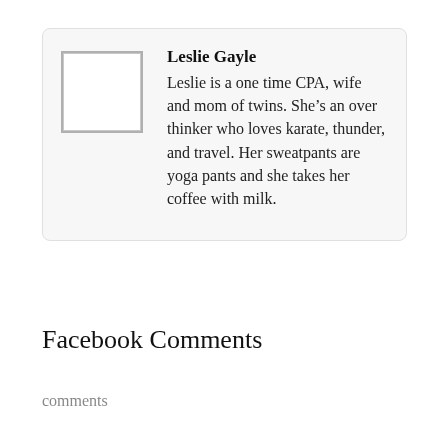[Figure (photo): Placeholder square image box for author Leslie Gayle]
Leslie Gayle
Leslie is a one time CPA, wife and mom of twins. She’s an over thinker who loves karate, thunder, and travel. Her sweatpants are yoga pants and she takes her coffee with milk.
Facebook Comments
comments